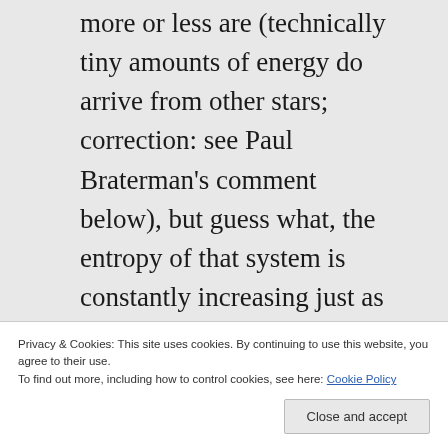more or less are (technically tiny amounts of energy do arrive from other stars; correction: see Paul Braterman's comment below), but guess what, the entropy of that system is constantly increasing just as thermodynamics predicts. The entropy gain from the chemical reactions of the
Privacy & Cookies: This site uses cookies. By continuing to use this website, you agree to their use.
To find out more, including how to control cookies, see here: Cookie Policy